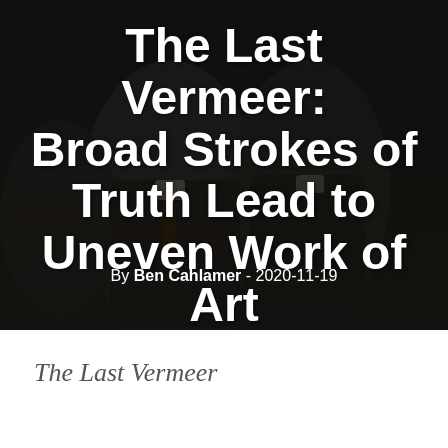[Figure (photo): Dark cinematic photo of men in suits with white bold text overlay showing article title and byline. Background shows shadowy figures in formal attire.]
The Last Vermeer: Broad Strokes of Truth Lead to Uneven Work of Art
By Ben Cahlamer - 2020-11-19
The Last Vermeer